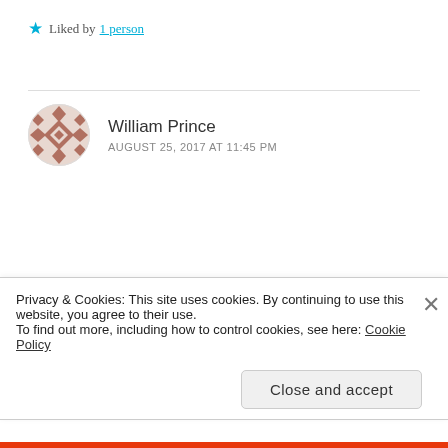★ Liked by 1 person
William Prince
AUGUST 25, 2017 AT 11:45 PM
I don't miss the cat columns (because I have a cat), but I do miss you, Jon, and your other columns. Keep the posts coming...when your country is going down in
Privacy & Cookies: This site uses cookies. By continuing to use this website, you agree to their use.
To find out more, including how to control cookies, see here: Cookie Policy
Close and accept